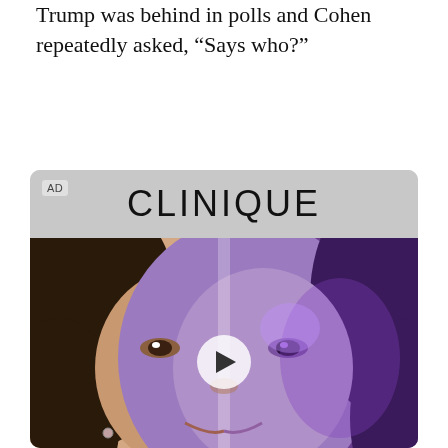appearance in which a CNN anchor pointed out Trump was behind in polls and Cohen repeatedly asked, “Says who?”
[Figure (photo): Clinique advertisement showing a woman's face split between a natural look (left half) and a purple-lit glowing look (right half), with a play button overlay indicating a video ad. Below the face image is a product shot with 'Outsmart the' text.]